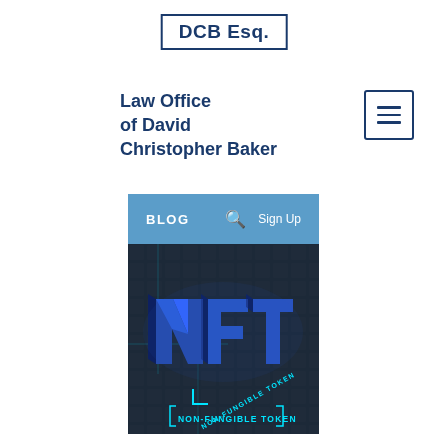[Figure (logo): DCB Esq. logo in bordered box, dark navy text]
Law Office of David Christopher Baker
[Figure (other): Hamburger menu icon with three horizontal lines in a bordered square]
BLOG   🔍   Sign Up
[Figure (photo): 3D rendered NFT letters in blue glowing neon on dark puzzle-piece textured background with 'NON-FUNGIBLE TOKEN' text]